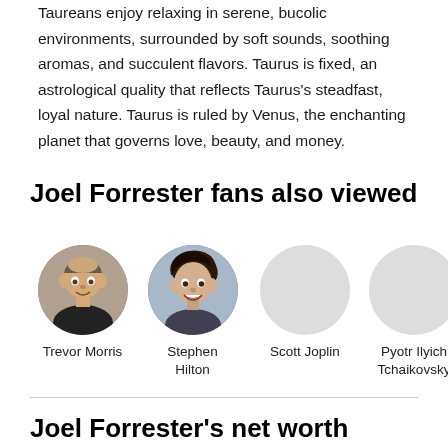Taureans enjoy relaxing in serene, bucolic environments, surrounded by soft sounds, soothing aromas, and succulent flavors. Taurus is fixed, an astrological quality that reflects Taurus's steadfast, loyal nature. Taurus is ruled by Venus, the enchanting planet that governs love, beauty, and money.
Joel Forrester fans also viewed
[Figure (photo): Circular photo of Trevor Morris]
Trevor Morris
[Figure (photo): Circular photo of Stephen Hilton]
Stephen Hilton
Scott Joplin
Pyotr Ilyich Tchaikovsky
Joel Forrester's net worth